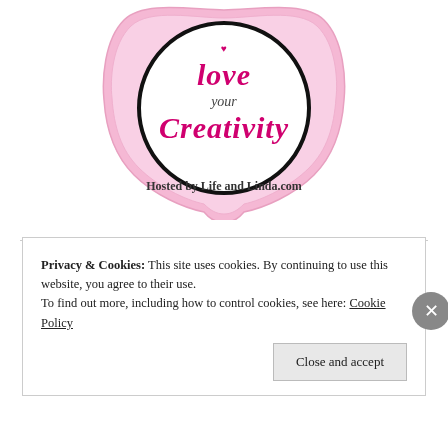[Figure (logo): Pink badge/shield shaped logo with a circle in the center. Text inside circle reads 'love your Creativity' in cursive/script pink and dark fonts. Below the circle reads 'Hosted by Life and Linda.com' in bold serif text.]
Privacy & Cookies: This site uses cookies. By continuing to use this website, you agree to their use.
To find out more, including how to control cookies, see here: Cookie Policy